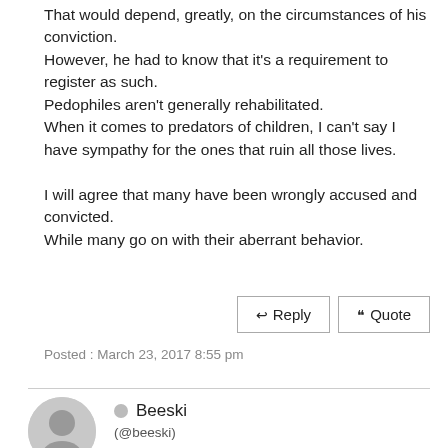That would depend, greatly, on the circumstances of his conviction.
However, he had to know that it's a requirement to register as such.
Pedophiles aren't generally rehabilitated.
When it comes to predators of children, I can't say I have sympathy for the ones that ruin all those lives.

I will agree that many have been wrongly accused and convicted.
While many go on with their aberrant behavior.
Posted : March 23, 2017 8:55 pm
Beeski
(@beeski)